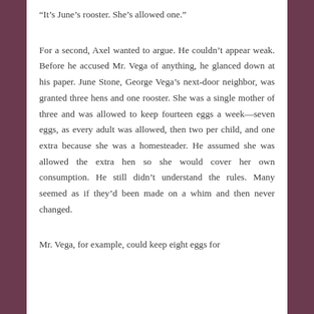“It’s June’s rooster. She’s allowed one.”
For a second, Axel wanted to argue. He couldn’t appear weak. Before he accused Mr. Vega of anything, he glanced down at his paper. June Stone, George Vega’s next-door neighbor, was granted three hens and one rooster. She was a single mother of three and was allowed to keep fourteen eggs a week—seven eggs, as every adult was allowed, then two per child, and one extra because she was a homesteader. He assumed she was allowed the extra hen so she would cover her own consumption. He still didn’t understand the rules. Many seemed as if they’d been made on a whim and then never changed.
Mr. Vega, for example, could keep eight eggs for